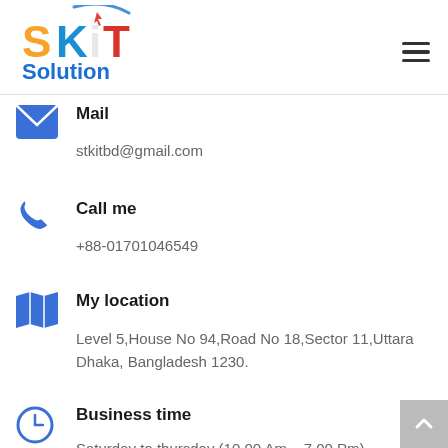[Figure (logo): SKiT Solution company logo with colorful stylized text]
Mail
stkitbd@gmail.com
Call me
+88-01701046549
My location
Level 5,House No 94,Road No 18,Sector 11,Uttara
Dhaka, Bangladesh 1230.
Business time
Saturday to thursday (10.00 Am – 7.00 Pm)